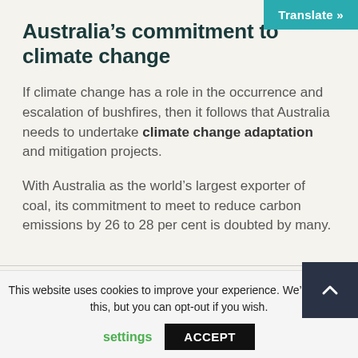Translate »
Australia's commitment to climate change
If climate change has a role in the occurrence and escalation of bushfires, then it follows that Australia needs to undertake climate change adaptation and mitigation projects.
With Australia as the world's largest exporter of coal, its commitment to meet to reduce carbon emissions by 26 to 28 per cent is doubted by many.
This website uses cookies to improve your experience. We're ok with this, but you can opt-out if you wish.
settings  ACCEPT